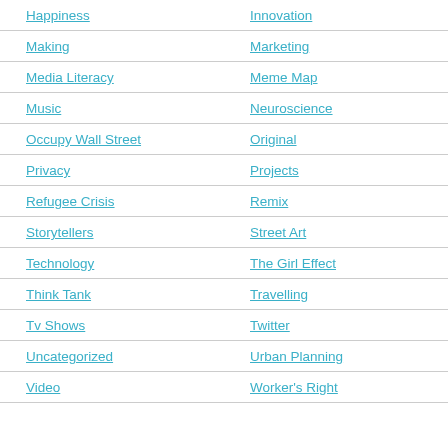Happiness
Innovation
Making
Marketing
Media Literacy
Meme Map
Music
Neuroscience
Occupy Wall Street
Original
Privacy
Projects
Refugee Crisis
Remix
Storytellers
Street Art
Technology
The Girl Effect
Think Tank
Travelling
Tv Shows
Twitter
Uncategorized
Urban Planning
Video
Worker's Right